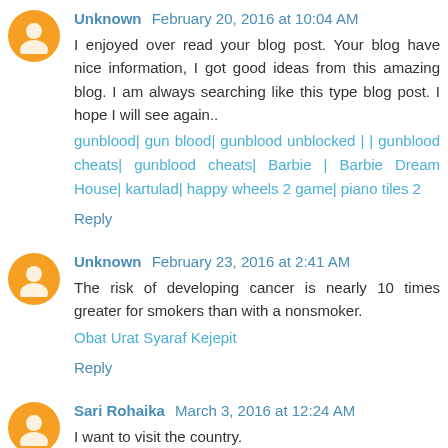Unknown  February 20, 2016 at 10:04 AM
I enjoyed over read your blog post. Your blog have nice information, I got good ideas from this amazing blog. I am always searching like this type blog post. I hope I will see again..
gunblood| gun blood| gunblood unblocked | | gunblood cheats| gunblood cheats| Barbie | Barbie Dream House| kartulad| happy wheels 2 game| piano tiles 2
Reply
Unknown  February 23, 2016 at 2:41 AM
The risk of developing cancer is nearly 10 times greater for smokers than with a nonsmoker.
Obat Urat Syaraf Kejepit
Reply
Sari Rohaika  March 3, 2016 at 12:24 AM
I want to visit the country.